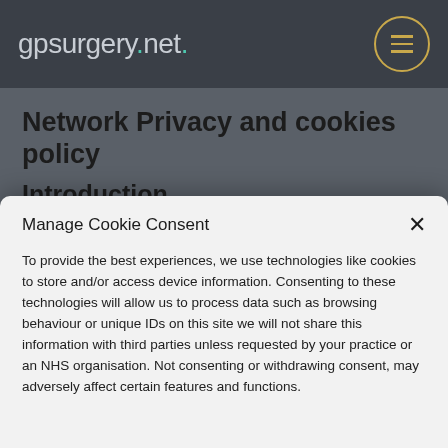gpsurgery.net.
Network Privacy and cookies policy
Introduction
This privacy policy describes how GPsurgery.net protects and makes use of the information held about
Manage Cookie Consent

To provide the best experiences, we use technologies like cookies to store and/or access device information. Consenting to these technologies will allow us to process data such as browsing behaviour or unique IDs on this site we will not share this information with third parties unless requested by your practice or an NHS organisation. Not consenting or withdrawing consent, may adversely affect certain features and functions.